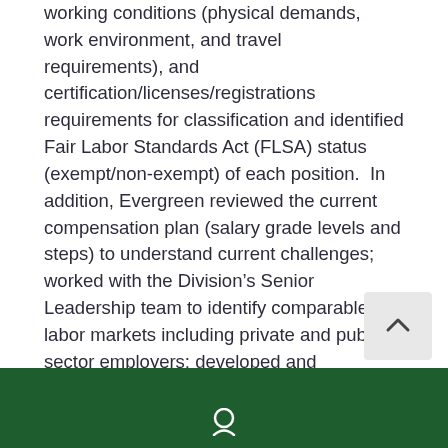working conditions (physical demands, work environment, and travel requirements), and certification/licenses/registrations requirements for classification and identified Fair Labor Standards Act (FLSA) status (exempt/non-exempt) of each position.  In addition, Evergreen reviewed the current compensation plan (salary grade levels and steps) to understand current challenges; worked with the Division's Senior Leadership team to identify comparable labor markets including private and public sector employers; developed and conducted a comprehensive compensation survey to include stipends (Instructional and coaching) and degree supplements; and made recommendations for updating the Division's Compensation and Classification Plans.